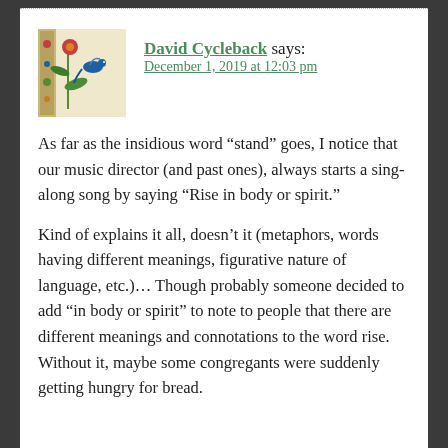[Figure (illustration): Avatar thumbnail image showing illuminated manuscript-style artwork with floral/bird motifs in blue, red, green on parchment background]
David Cycleback says:
December 1, 2019 at 12:03 pm
As far as the insidious word “stand” goes, I notice that our music director (and past ones), always starts a sing-along song by saying “Rise in body or spirit.”
Kind of explains it all, doesn’t it (metaphors, words having different meanings, figurative nature of language, etc.).… Though probably someone decided to add “in body or spirit” to note to people that there are different meanings and connotations to the word rise. Without it, maybe some congregants were suddenly getting hungry for bread.